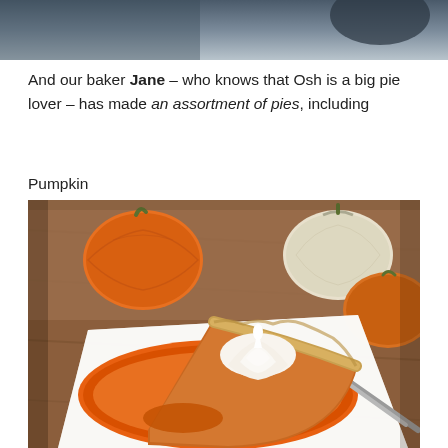[Figure (photo): Partial top image showing blurred background, likely a food or kitchen scene]
And our baker Jane – who knows that Osh is a big pie lover – has made an assortment of pies, including
Pumpkin
[Figure (photo): Photo of a slice of pumpkin pie with whipped cream on an orange plate, with mini pumpkins in the background on a wooden table]